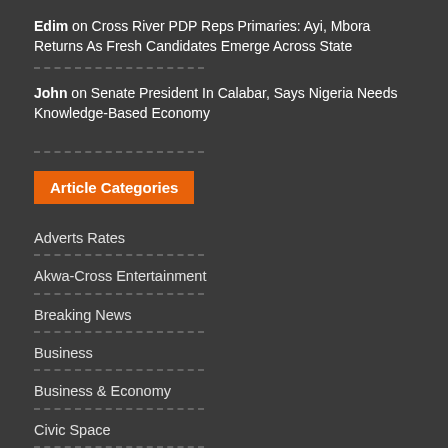Edim on Cross River PDP Reps Primaries: Ayi, Mbora Returns As Fresh Candidates Emerge Across State
John on Senate President In Calabar, Says Nigeria Needs Knowledge-Based Economy
Article Categories
Adverts Rates
Akwa-Cross Entertainment
Breaking News
Business
Business & Economy
Civic Space
Columnists